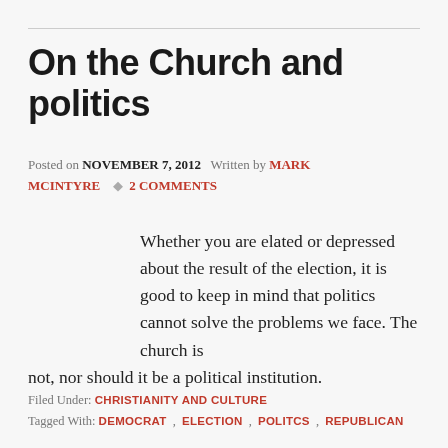On the Church and politics
Posted on NOVEMBER 7, 2012   Written by MARK MCINTYRE   ♦ 2 COMMENTS
Whether you are elated or depressed about the result of the election, it is good to keep in mind that politics cannot solve the problems we face. The church is not, nor should it be a political institution.
Filed Under: CHRISTIANITY AND CULTURE
Tagged With: DEMOCRAT , ELECTION , POLITCS , REPUBLICAN